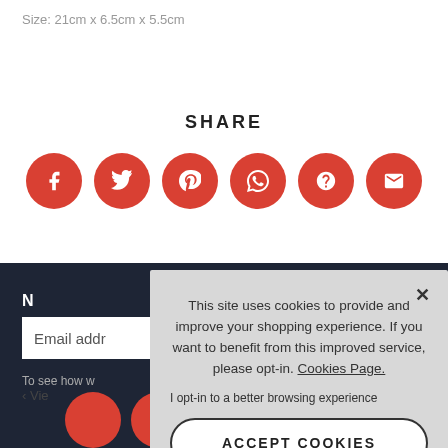Size: 21cm x 6.5cm x 5.5cm
SHARE
[Figure (infographic): Row of 6 red circular social media share buttons: Facebook, Twitter, Pinterest, WhatsApp, Question/Other, Email]
‹ Vie
Email addr
To see how w
[Figure (infographic): Cookie consent popup with text: This site uses cookies to provide and improve your shopping experience. If you want to benefit from this improved service, please opt-in. Cookies Page. I opt-in to a better browsing experience. ACCEPT COOKIES button.]